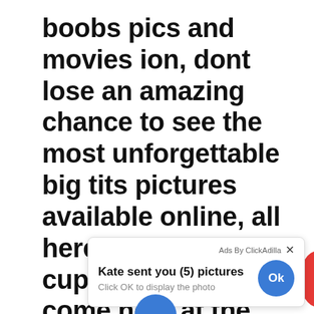boobs pics and movies ion, dont lose an amazing chance to see the most unforgettable big tits pictures available online, all hereall the fans of d cups and bigger come here at the place where
[Figure (screenshot): Ad popup from ClickAdilla showing 'Kate sent you (5) pictures' with 'Click OK to display the photo' text and a blue OK button]